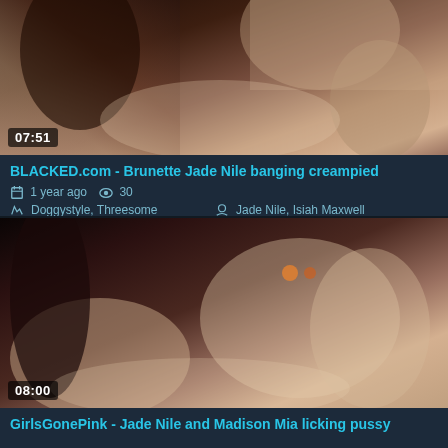[Figure (photo): Video thumbnail showing adult content, duration overlay 07:51]
BLACKED.com - Brunette Jade Nile banging creampied
1 year ago   30
Doggystyle, Threesome   Jade Nile, Isiah Maxwell
[Figure (photo): Video thumbnail showing adult content, duration overlay 08:00]
GirlsGonePink - Jade Nile and Madison Mia licking pussy